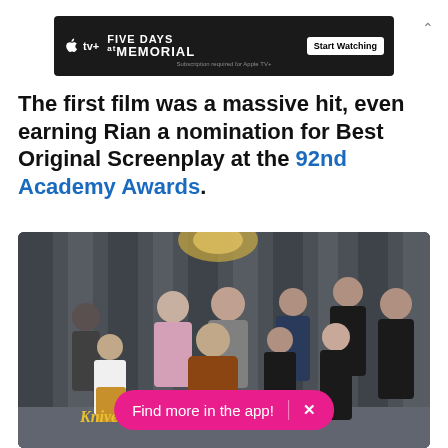[Figure (screenshot): Apple TV+ advertisement banner for 'Five Days at Memorial' with Start Watching button]
The first film was a massive hit, even earning Rian a nomination for Best Original Screenplay at the 92nd Academy Awards.
[Figure (photo): Group photo of the Knives Out cast with a grey draped fabric background. Multiple actors posed together, some seated and some standing. A pink 'Find more in the app!' pill button overlaid at bottom.]